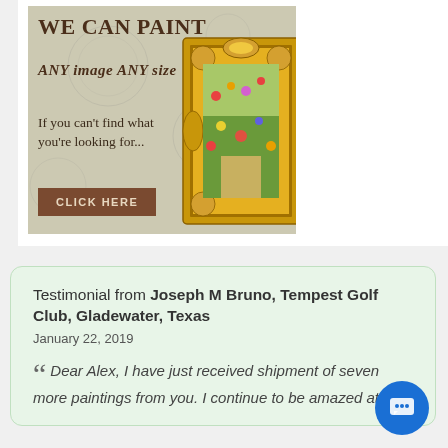[Figure (illustration): Advertisement banner: 'WE CAN PAINT ANY image ANY size. If you can't find what you're looking for... CLICK HERE' with an ornate gold picture frame showing a colorful garden painting, on a textured beige background.]
Testimonial from Joseph M Bruno, Tempest Golf Club, Gladewater, Texas
January 22, 2019

“Dear Alex, I have just received shipment of seven more paintings from you. I continue to be amazed at the